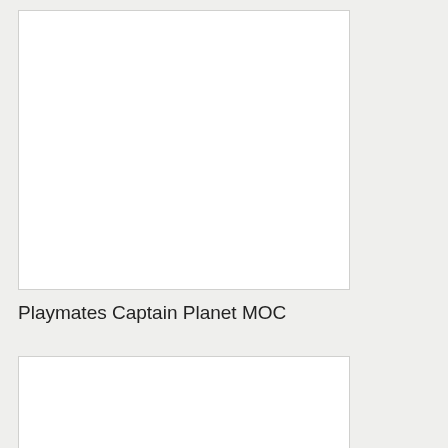[Figure (photo): White rectangular photo/image placeholder at the top left of the page]
Playmates Captain Planet MOC
[Figure (photo): White rectangular photo/image placeholder at the bottom left of the page]